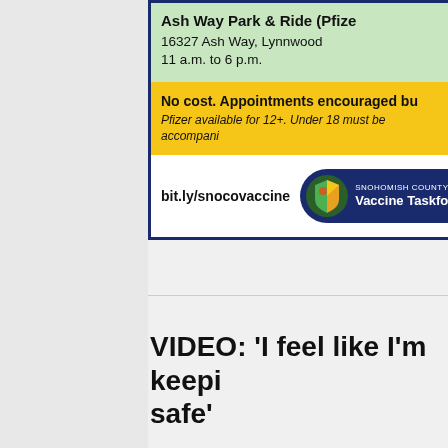Ash Way Park & Ride (Pfize... 16327 Ash Way, Lynnwood 11 a.m. to 6 p.m.
No cost. Appointments encouraged bu... Pfizer available for 12+. Under 18 must be accompani...
bit.ly/snocovaccine
[Figure (logo): Snohomish County Vaccine Taskforce logo — dark navy pill-shaped badge with green/yellow/orange shield icon]
VIDEO: 'I feel like I'm keepi... safe'